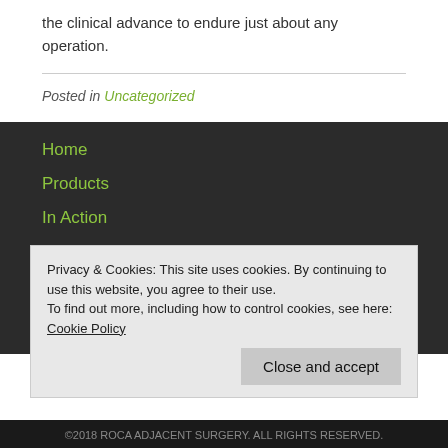the clinical advance to endure just about any operation.
Posted in Uncategorized
Home
Products
In Action
Where To Buy
About Us
Contact Us
Privacy & Cookies: This site uses cookies. By continuing to use this website, you agree to their use. To find out more, including how to control cookies, see here: Cookie Policy
Close and accept
©2018 ROCA ADJACENT SURGERY. ALL RIGHTS RESERVED.